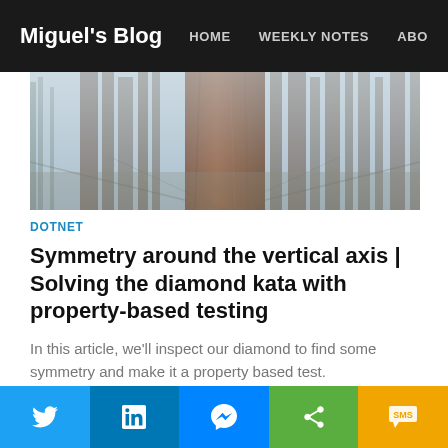Miguel's Blog  HOME  WEEKLY NOTES  ABO
[Figure (photo): Forest photo showing tall redwood trees viewed from below, misty atmosphere]
DOTNET
Symmetry around the vertical axis | Solving the diamond kata with property-based testing
In this article, we'll inspect our diamond to find some symmetry and make it a property based test.
MIGUEL BERNARD - MVP
10 JUN 2020 • 2 MIN READ